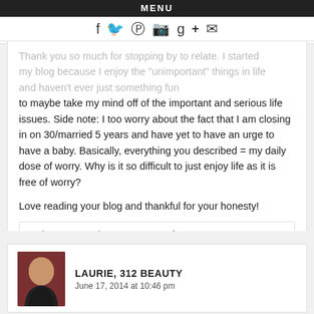MENU
Thank you so much for stopping by to relate. I started my blog because I enjoy the "unimportant" things in life and haven't ever ... just something fun to maybe take my mind off of the important and serious life issues. Side note: I too worry about the fact that I am closing in on 30/married 5 years and have yet to have an urge to have a baby. Basically, everything you described = my daily dose of worry. Why is it so difficult to just enjoy life as it is free of worry?

Love reading your blog and thankful for your honesty!
Rebecca recently posted...Favorite Go-To Recipes
Reply ↓
LAURIE, 312 BEAUTY
June 17, 2014 at 10:46 pm